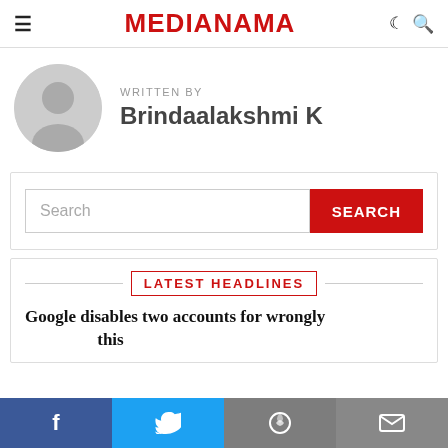MEDIANAMA
WRITTEN BY
Brindaalakshmi K
[Figure (screenshot): Search bar with text input and red SEARCH button]
LATEST HEADLINES
Google disables two accounts for wrongly ... this